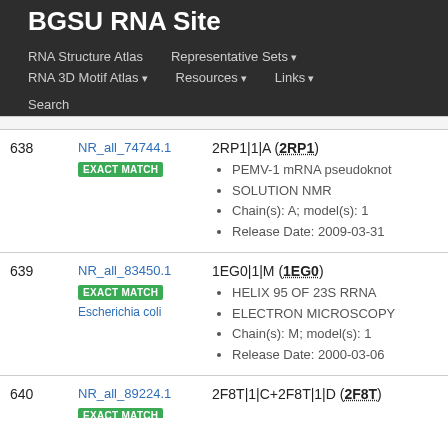BGSU RNA Site
RNA Structure Atlas
Representative Sets
RNA 3D Motif Atlas
Resources
Links
Search
| # | ID | Info |
| --- | --- | --- |
| 638 | NR_all_74744.1
EXACT MATCH | 2RP1|1|A (2RP1)
• PEMV-1 mRNA pseudoknot
• SOLUTION NMR
• Chain(s): A; model(s): 1
• Release Date: 2009-03-31 |
| 639 | NR_all_83450.1
EXACT MATCH
Escherichia coli | 1EG0|1|M (1EG0)
• HELIX 95 OF 23S RRNA
• ELECTRON MICROSCOPY
• Chain(s): M; model(s): 1
• Release Date: 2000-03-06 |
| 640 | NR_all_89224.1
EXACT MATCH | 2F8T|1|C+2F8T|1|D (2F8T)
• ... |